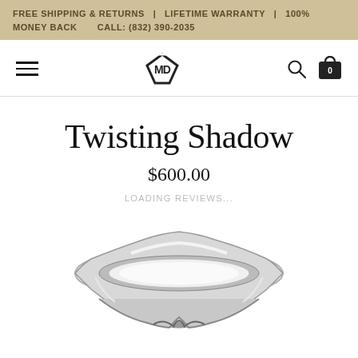FREE SHIPPING & RETURNS   LIFETIME WARRANTY   100% MONEY BACK   CALL: (832) 390-2035
[Figure (logo): Navigation bar with hamburger menu, diamond logo (MD), search icon, and cart icon with 0 badge]
Twisting Shadow
$600.00
LOADING REVIEWS...
[Figure (photo): Silver twisted shadow ring with a wavy/notched band design, shown from front angle on white background]